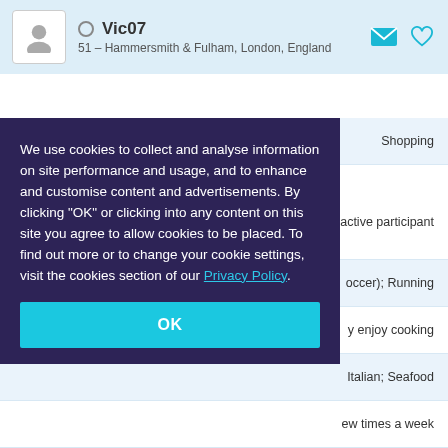Vic07 – 51 – Hammersmith & Fulham, London, England
Interests: Shopping
Sport involvement: An active participant
We use cookies to collect and analyse information on site performance and usage, and to enhance and customise content and advertisements. By clicking "OK" or clicking into any content on this site you agree to allow cookies to be placed. To find out more or to change your cookie settings, visit the cookies section of our Privacy Policy.
OK
occer); Running
y enjoy cooking
Italian; Seafood
ew times a week
I have none